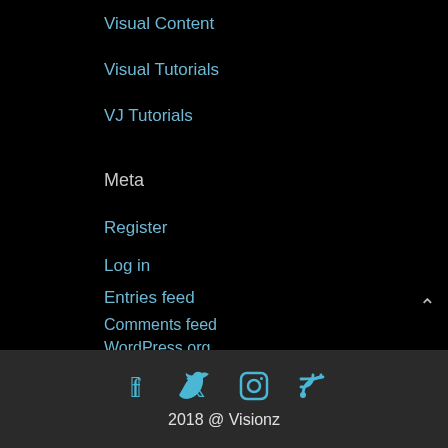Visual Content
Visual Tutorials
VJ Tutorials
Meta
Register
Log in
Entries feed
Comments feed
WordPress.org
[Figure (infographic): Social media icons: Facebook, Twitter, Instagram, RSS feed in blue]
2018 @ Visionz